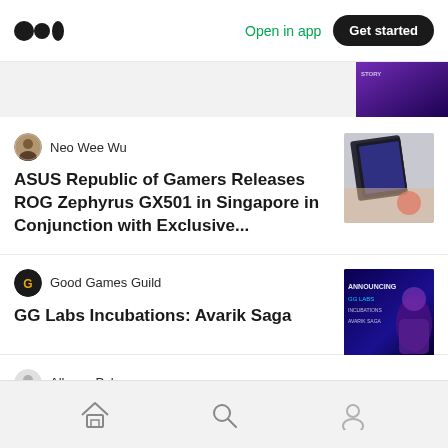Open in app | Get started
Neo Wee Wu
ASUS Republic of Gamers Releases ROG Zephyrus GX501 in Singapore in Conjunction with Exclusive...
Good Games Guild
GG Labs Incubations: Avarik Saga
Allyson Pyle
The Game Engine of Dishonored 2— Gameplay Journal Entry #2
Home | Search | Profile